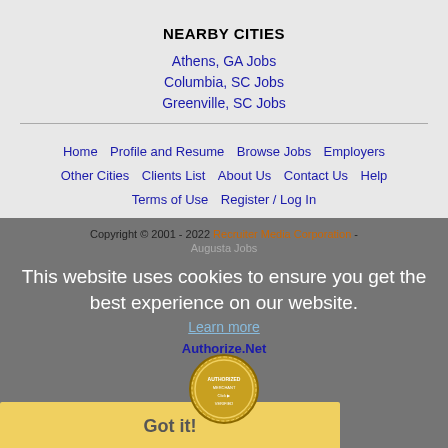NEARBY CITIES
Athens, GA Jobs
Columbia, SC Jobs
Greenville, SC Jobs
Home | Profile and Resume | Browse Jobs | Employers | Other Cities | Clients List | About Us | Contact Us | Help | Terms of Use | Register / Log In
Copyright © 2001 - 2022 Recruiter Media Corporation - Augusta Jobs
This website uses cookies to ensure you get the best experience on our website.
Learn more
[Figure (logo): Authorize.Net merchant seal/badge with circular gold stamp]
Got it!